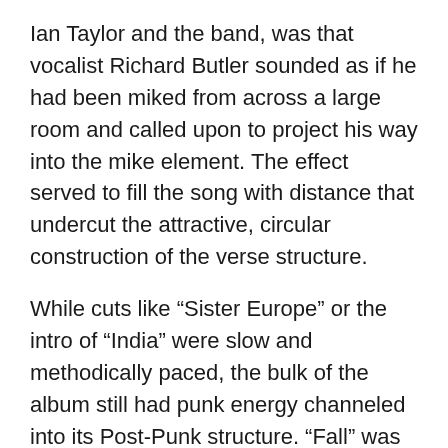Ian Taylor and the band, was that vocalist Richard Butler sounded as if he had been miked from across a large room and called upon to project his way into the mike element. The effect served to fill the song with distance that undercut the attractive, circular construction of the verse structure.
While cuts like “Sister Europe” or the intro of “India” were slow and methodically paced, the bulk of the album still had punk energy channeled into its Post-Punk structure. “Fall” was a fast paced, insistent number with rhythmically vamping sax abetted by the unflinching beat of Ely giving vocalist Butler a rock-solid structure upon which to erect his breathlessly recited lyrics. John Ashton’s flanged solo in the middle eight was deliciously nagging and insistent.
“Soap Commercial” appeared here first, as the other